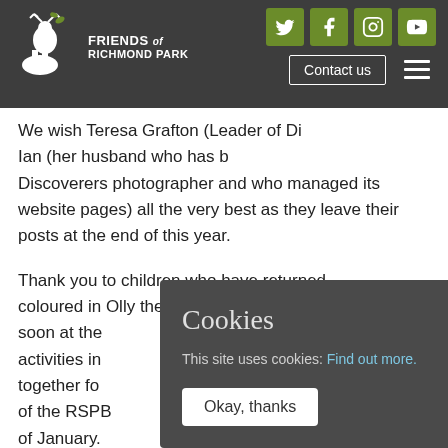Discoverers — Friends of Richmond Park navigation bar with social icons (Twitter, Facebook, Instagram, YouTube), Contact us button, and hamburger menu
Discoverers
We wish Teresa Grafton (Leader of Discoverers) and Ian (her husband who has been Discoverers photographer and who managed its website pages) all the very best as they leave their posts at the end of this year.
Thank you to children who have returned coloured in Olly the Little Owls, which will appear soon at the activities in together for of the RSPB of January.
Trustees
Monique Sarkany, our new leader of Discoverers,
[Figure (screenshot): Cookie consent overlay on dark background reading 'Cookies — This site uses cookies: Find out more. Okay, thanks button']